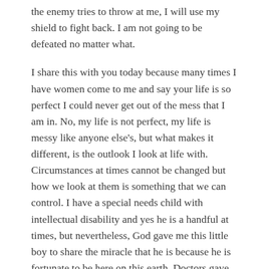the enemy tries to throw at me, I will use my shield to fight back. I am not going to be defeated no matter what.
I share this with you today because many times I have women come to me and say your life is so perfect I could never get out of the mess that I am in. No, my life is not perfect, my life is messy like anyone else's, but what makes it different, is the outlook I look at life with. Circumstances at times cannot be changed but how we look at them is something that we can control. I have a special needs child with intellectual disability and yes he is a handful at times, but nevertheless, God gave me this little boy to share the miracle that he is because he is fortunate to be here on this earth. Doctors gave him zero chance of being conceived naturally, 5% chance of survival after being born, and towards the end of my pregnancy when my blood pressure got to